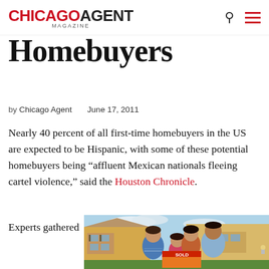CHICAGO AGENT MAGAZINE
Homebuyers
by Chicago Agent   June 17, 2011
Nearly 40 percent of all first-time homebuyers in the US are expected to be Hispanic, with some of these potential homebuyers being “affluent Mexican nationals fleeing cartel violence,” said the Houston Chronicle.
Experts gathered
[Figure (photo): Hispanic family of four standing in front of a home, smiling and holding a SOLD real estate sign. Two adults and two children.]